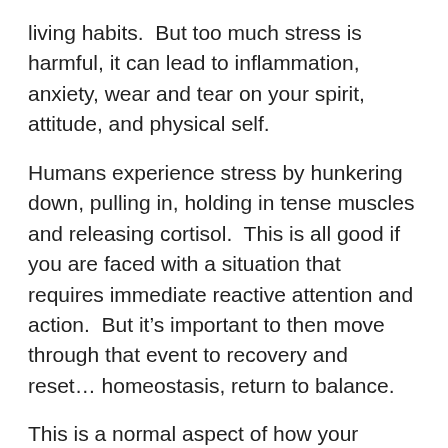living habits.  But too much stress is harmful, it can lead to inflammation, anxiety, wear and tear on your spirit, attitude, and physical self.
Humans experience stress by hunkering down, pulling in, holding in tense muscles and releasing cortisol.  This is all good if you are faced with a situation that requires immediate reactive attention and action.  But it’s important to then move through that event to recovery and reset… homeostasis, return to balance.
This is a normal aspect of how your integrated physical/emotional/spiritual body works….sympathetic nervous system is the action system in your integrated self and the parasympathetic nervous system is the regenerative system of you integrated self.